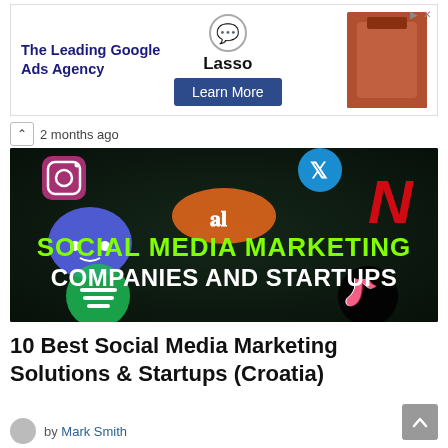[Figure (screenshot): Advertisement banner for Lasso — The Leading Google Ads Agency with a Learn More button]
2 months ago
[Figure (illustration): Dark background hero image showing social media app icons (Instagram, Twitter, Discord, Netflix, Spotify, TikTok) with text reading 'SOCIAL MEDIA MARKETING COMPANIES AND STARTUPS' and a logo 'SP' on an orange pill shape]
10 Best Social Media Marketing Solutions & Startups (Croatia)
by Mark Smith